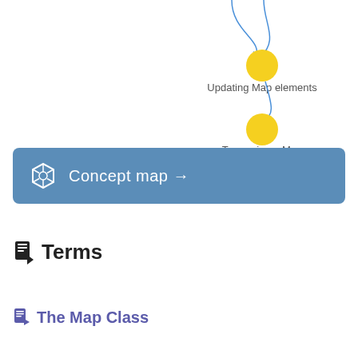[Figure (flowchart): Partial flowchart showing two yellow circle nodes: 'Updating Map elements' and 'Traversing a Map', connected by curved blue arrows pointing downward]
[Figure (other): Blue rounded rectangle button with a hexagon icon and the text 'Concept map →']
Terms
The Map Class